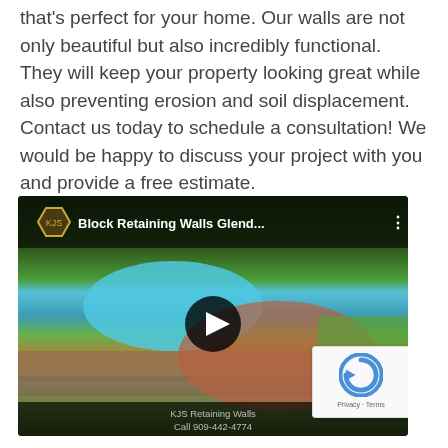that's perfect for your home. Our walls are not only beautiful but also incredibly functional. They will keep your property looking great while also preventing erosion and soil displacement. Contact us today to schedule a consultation! We would be happy to discuss your project with you and provide a free estimate.
[Figure (screenshot): YouTube video thumbnail for 'Block Retaining Walls Glend...' by KJS Retaining Walls. Shows a landscaped backyard with a pool, stone retaining walls, red pavers, and green grass. Overlaid with a play button, channel logo, video title bar, and footer text 'KJS Retaining Walls / Call 909-442-4774'.]